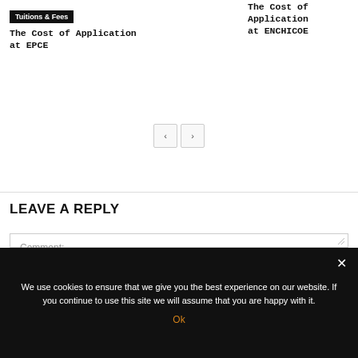Tuitions & Fees
The Cost of Application at EPCE
The Cost of Application at ENCHICOE
LEAVE A REPLY
Comment:
We use cookies to ensure that we give you the best experience on our website. If you continue to use this site we will assume that you are happy with it.
Ok